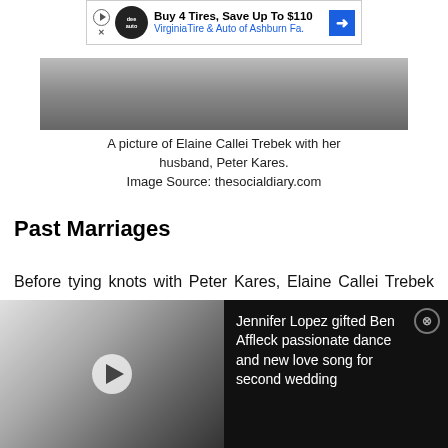[Figure (other): Ad banner: Buy 4 Tires, Save Up To $110 VirginiaTire & Auto of Ashburn Fa.]
[Figure (photo): Partial photo of Elaine Callei Trebek with her husband Peter Kares]
A picture of Elaine Callei Trebek with her husband, Peter Kares.
Image Source: thesocialdiary.com
Past Marriages
Before tying knots with Peter Kares, Elaine Callei Trebek was married twice. Her first husband is Louis Callei whose identity is under the curtain. The couple welcomed a daughter but also their married life
[Figure (other): Bottom video ad: Black and white photo of couple, with text: Jennifer Lopez gifted Ben Affleck passionate dance and new love song for second wedding]